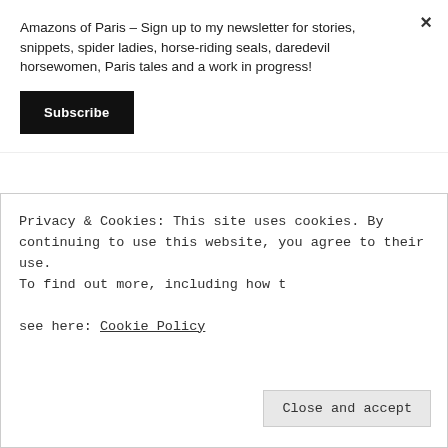Amazons of Paris – Sign up to my newsletter for stories, snippets, spider ladies, horse-riding seals, daredevil horsewomen, Paris tales and a work in progress!
Subscribe
× (close button)
driver, owns Miley and her new colt, Titan. Like most of his fellow boarders, he likes to go riding at
Privacy & Cookies: This site uses cookies. By continuing to use this website, you agree to their use.
To find out more, including how to control cookies, see here: Cookie Policy
Close and accept